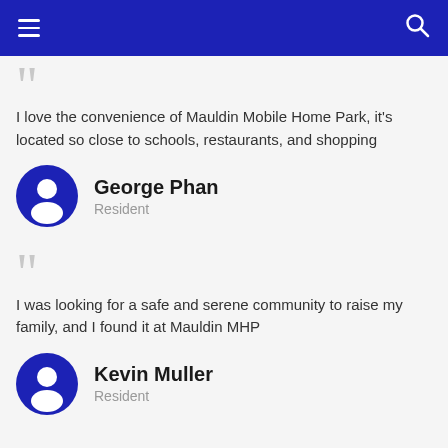Navigation bar with menu and search icons
I love the convenience of Mauldin Mobile Home Park, it's located so close to schools, restaurants, and shopping
George Phan
Resident
I was looking for a safe and serene community to raise my family, and I found it at Mauldin MHP
Kevin Muller
Resident